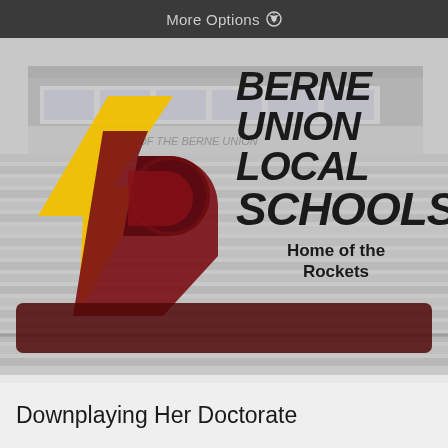More Options ⚙
[Figure (photo): Berne Union Local Schools logo and school name overlay on a grayscale bleachers/stadium background photo. Logo shows a stylized 'B' letter with dark red and yellow lightning bolt design. Text reads BERNE UNION LOCAL SCHOOLS Home of the Rockets. A dark red banner bar runs across the lower portion of the image.]
Downplaying Her Doctorate